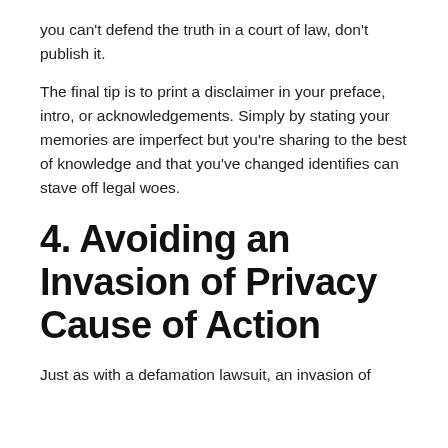you can't defend the truth in a court of law, don't publish it.
The final tip is to print a disclaimer in your preface, intro, or acknowledgements. Simply by stating your memories are imperfect but you're sharing to the best of knowledge and that you've changed identifies can stave off legal woes.
4. Avoiding an Invasion of Privacy Cause of Action
Just as with a defamation lawsuit, an invasion of